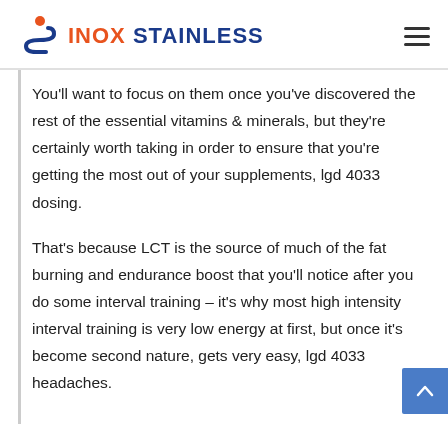INOX STAINLESS
You'll want to focus on them once you've discovered the rest of the essential vitamins & minerals, but they're certainly worth taking in order to ensure that you're getting the most out of your supplements, lgd 4033 dosing.
That's because LCT is the source of much of the fat burning and endurance boost that you'll notice after you do some interval training – it's why most high intensity interval training is very low energy at first, but once it's become second nature, gets very easy, lgd 4033 headaches.